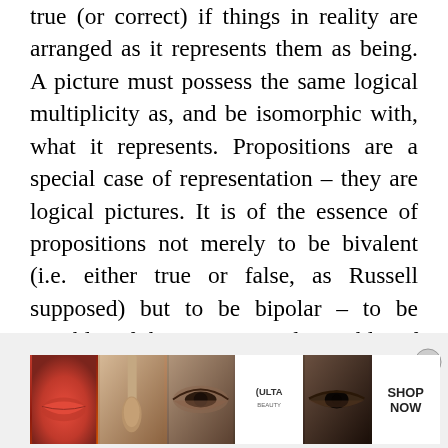true (or correct) if things in reality are arranged as it represents them as being. A picture must possess the same logical multiplicity as, and be isomorphic with, what it represents. Propositions are a special case of representation – they are logical pictures. It is of the essence of propositions not merely to be bivalent (i.e. either true or false, as Russell supposed) but to be bipolar – to be capable of being true and capable of being false. This insight lies at the heart of the Tractatus. In this way, propositions reflect the nature of what
Advertisements
[Figure (photo): Advertisement banner for Ulta Beauty showing close-up images of lips with lipstick, makeup brush, eye with makeup, Ulta logo, eye with dark makeup, and a SHOP NOW call-to-action button]